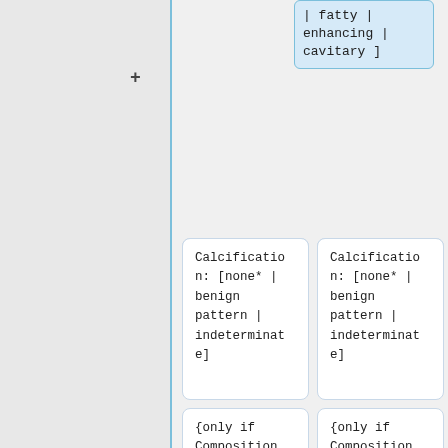| fatty | enhancing | cavitary ]
Calcification: [none* | benign pattern | indeterminate]
Calcification: [none* | benign pattern | indeterminate]
{only if Composition = calcified}
{only if Composition = calcified}
Line 52:
Line 55:
Detected Incidentally
Detected Incidentally